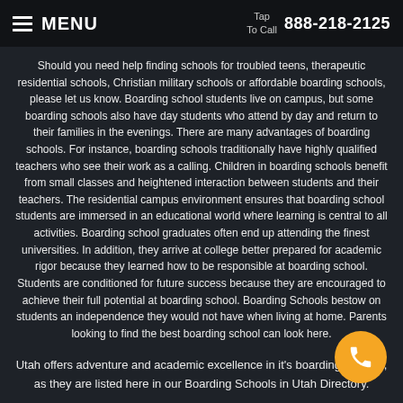MENU | Tap To Call 888-218-2125
Should you need help finding schools for troubled teens, therapeutic residential schools, Christian military schools or affordable boarding schools, please let us know. Boarding school students live on campus, but some boarding schools also have day students who attend by day and return to their families in the evenings. There are many advantages of boarding schools. For instance, boarding schools traditionally have highly qualified teachers who see their work as a calling. Children in boarding schools benefit from small classes and heightened interaction between students and their teachers. The residential campus environment ensures that boarding school students are immersed in an educational world where learning is central to all activities. Boarding school graduates often end up attending the finest universities. In addition, they arrive at college better prepared for academic rigor because they learned how to be responsible at boarding school. Students are conditioned for future success because they are encouraged to achieve their full potential at boarding school. Boarding Schools bestow on students an independence they would not have when living at home. Parents looking to find the best boarding school can look here.
Utah offers adventure and academic excellence in it's boarding schools, as they are listed here in our Boarding Schools in Utah Directory.